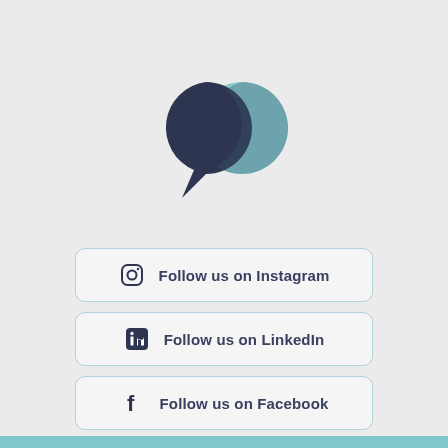[Figure (logo): Two overlapping speech bubble / circle shapes: one dark navy on the left, one light teal on the right, forming a logo mark]
Follow us on Instagram
Follow us on LinkedIn
Follow us on Facebook
Subscribe to our newsletter